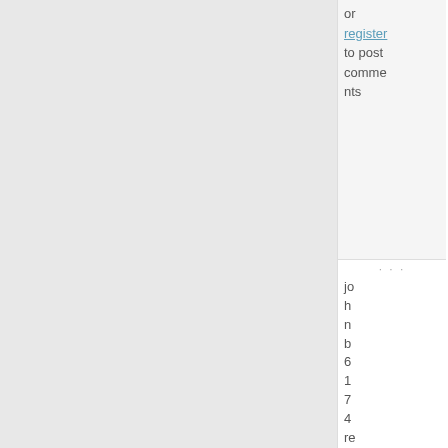or register to post comments
johnb6174 replied on Sun, 10/04/20